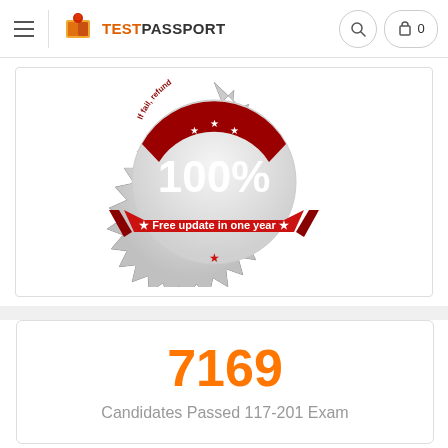TestPassport
[Figure (illustration): Red and silver badge/seal with '100%' in large white text, a red ribbon banner reading 'Free update in one year', text 'If fail... refund' along the top edge, and three stars at the top center. The badge has a starburst/scalloped silver edge.]
7169
Candidates Passed 117-201 Exam